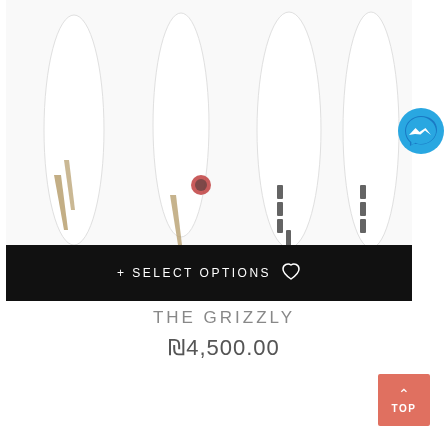[Figure (photo): Product photo of surfboards (The Grizzly) displayed from multiple angles showing top and bottom views with fins, white boards with dark fins and logo]
+ SELECT OPTIONS ♡
THE GRIZZLY
₪4,500.00